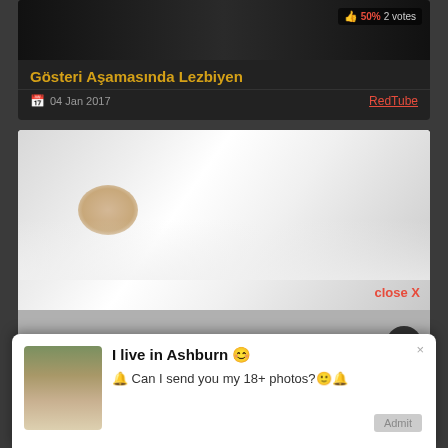[Figure (screenshot): Screenshot of adult content website showing video thumbnails, vote badges showing 50% 2 votes, a video title in Turkish 'Gösteri Aşamasında Lezbiyen', date '04 Jan 2017', source 'RedTube', and a popup notification saying 'I live in Ashburn' with request to send 18+ photos]
Gösteri Aşamasında Lezbiyen
04 Jan 2017
RedTube
close X
50% 2 votes
I live in Ashburn 😊
🔔 Can I send you my 18+ photos?☺️🔔